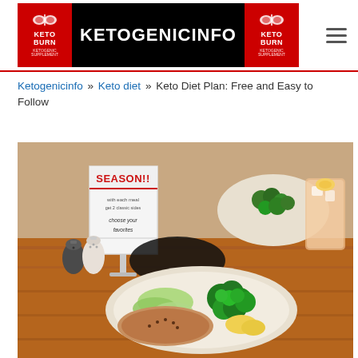[Figure (logo): Ketogenicinfo website header logo with KETO BURN branding on red/black background and KETOGENICINFO site name in white bold text]
Ketogenicinfo » Keto diet » Keto Diet Plan: Free and Easy to Follow
[Figure (photo): Restaurant table with a SEASON!! menu sign, salt and pepper shakers, a white plate with broccoli and lettuce, and a glass of iced pink lemonade in the background with another plate of food]